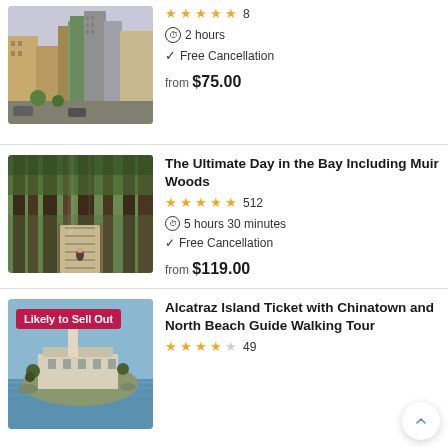[Figure (photo): City street scene with tall buildings including a green flatiron-style building]
★★★★★ 8
⏱ 2 hours
✓ Free Cancellation
from $75.00
The Ultimate Day in the Bay Including Muir Woods
[Figure (photo): Tall redwood forest with a person walking on a boardwalk path]
★★★★★ 512
⏱ 5 hours 30 minutes
✓ Free Cancellation
from $119.00
Alcatraz Island Ticket with Chinatown and North Beach Guide Walking Tour
[Figure (photo): Alcatraz Island with its historic buildings, badge reading Likely to Sell Out]
★★★★☆ 49